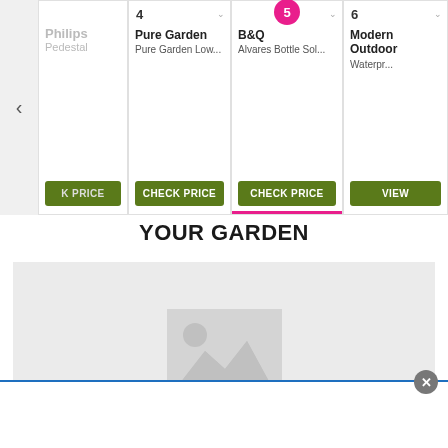[Figure (screenshot): Product carousel with 4 product cards: Philips Pedestal (partially visible), Pure Garden (Pure Garden Low...), B&Q (Alvares Bottle Sol...) with active pink badge number 5, Modern Outdoor (Waterpr...). Each card has a CHECK PRICE or VIEW button in dark green. A left navigation arrow is visible.]
YOUR GARDEN
[Figure (photo): Large grey placeholder area with a placeholder image icon in the center representing a garden photo area.]
[Figure (screenshot): Bottom white bar with blue top border and a grey close (X) button in the top-right corner.]